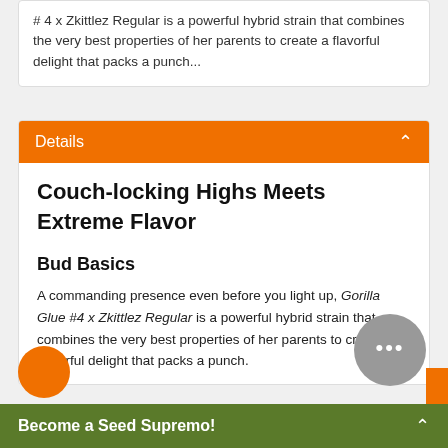# 4 x Zkittlez Regular is a powerful hybrid strain that combines the very best properties of her parents to create a flavorful delight that packs a punch...
Details
Couch-locking Highs Meets Extreme Flavor
Bud Basics
A commanding presence even before you light up, Gorilla Glue #4 x Zkittlez Regular is a powerful hybrid strain that combines the very best properties of her parents to create a flavorful delight that packs a punch.
Become a Seed Supremo!